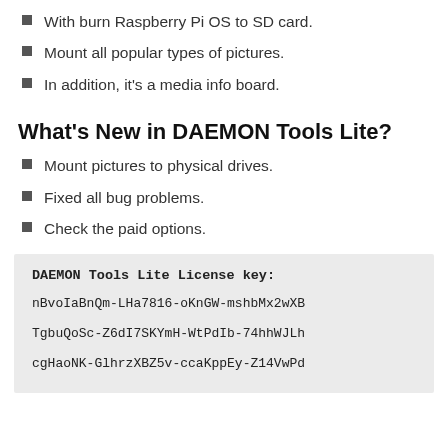With burn Raspberry Pi OS to SD card.
Mount all popular types of pictures.
In addition, it's a media info board.
What's New in DAEMON Tools Lite?
Mount pictures to physical drives.
Fixed all bug problems.
Check the paid options.
DAEMON Tools Lite License key:
nBvoIaBnQm-LHa7816-oKnGW-mshbMx2wXB
TgbuQoSc-Z6dI7SKYmH-WtPdIb-74hhWJLh
cgHaoNK-GlhrzXBZ5v-ccaKppEy-Z14VwPd